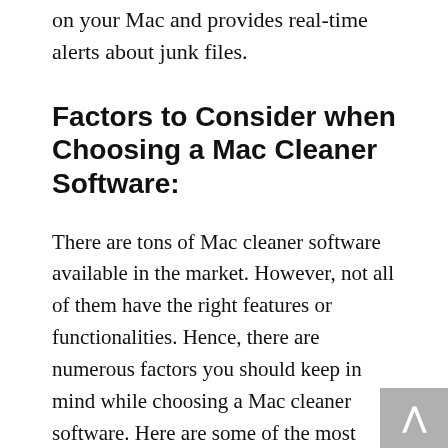on your Mac and provides real-time alerts about junk files.
Factors to Consider when Choosing a Mac Cleaner Software:
There are tons of Mac cleaner software available in the market. However, not all of them have the right features or functionalities. Hence, there are numerous factors you should keep in mind while choosing a Mac cleaner software. Here are some of the most important ones:
It Should Have a Simple and Easy-to-Use Interface